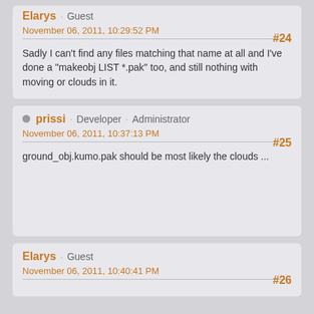Elarys · Guest
November 06, 2011, 10:29:52 PM
#24
Sadly I can't find any files matching that name at all and I've done a "makeobj LIST *.pak" too, and still nothing with moving or clouds in it.
prissi · Developer · Administrator
November 06, 2011, 10:37:13 PM
#25
ground_obj.kumo.pak should be most likely the clouds ...
Elarys · Guest
November 06, 2011, 10:40:41 PM
#26